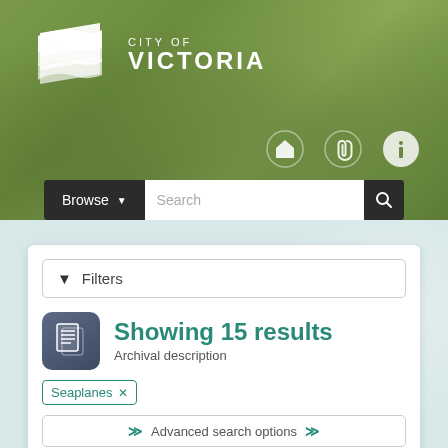[Figure (screenshot): City of Victoria website header with green background, logo with wave/flag design, navigation icons (home, paperclip, info), Browse dropdown and Search bar]
Filters
Showing 15 results
Archival description
Seaplanes ×
Advanced search options